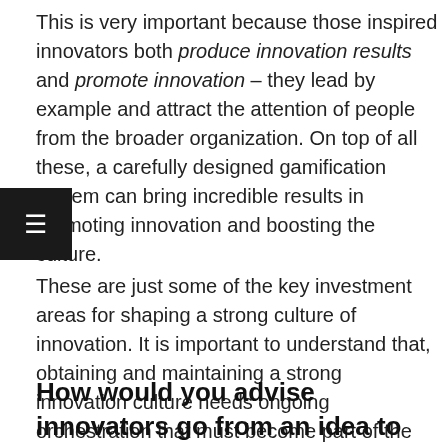This is very important because those inspired innovators both produce innovation results and promote innovation – they lead by example and attract the attention of people from the broader organization. On top of all these, a carefully designed gamification system can bring incredible results in promoting innovation and boosting the culture.
These are just some of the key investment areas for shaping a strong culture of innovation. It is important to understand that, obtaining and maintaining a strong innovation culture needs ongoing orchestration that must become part of the 'operating system' of the organization.
How would you advise innovators go from an idea to concept and eventually a product, any